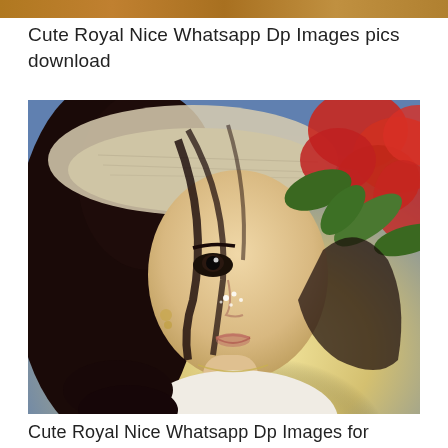[Figure (photo): Decorative top image strip with warm golden-brown tones]
Cute Royal Nice Whatsapp Dp Images pics download
[Figure (photo): Portrait photo of a young Asian woman wearing a straw hat, with red flowers in the background. She has sparkle face decorations and is wearing a white lace top and necklace. Soft warm lighting.]
Cute Royal Nice Whatsapp Dp Images for whastapp